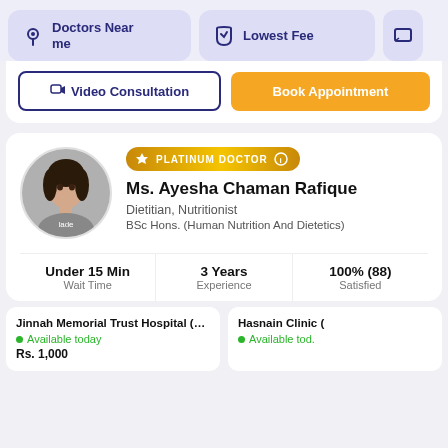Doctors Near me
Lowest Fee
Video Consultation
Book Appointment
PLATINUM DOCTOR
Ms. Ayesha Chaman Rafique
Dietitian, Nutritionist
BSc Hons. (Human Nutrition And Dietetics)
Under 15 Min
Wait Time
3 Years
Experience
100% (88)
Satisfied
Jinnah Memorial Trust Hospital (M...
Available today
Rs. 1,000
Hasnain Clinic (
Available tod.